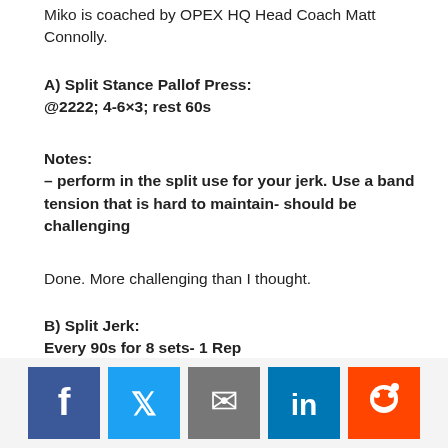Miko is coached by OPEX HQ Head Coach Matt Connolly.
A) Split Stance Pallof Press:
@2222; 4-6×3; rest 60s
Notes:
– perform in the split use for your jerk. Use a band tension that is hard to maintain- should be challenging
Done. More challenging than I thought.
B) Split Jerk:
Every 90s for 8 sets- 1 Rep
Notes